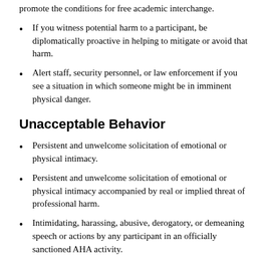promote the conditions for free academic interchange.
If you witness potential harm to a participant, be diplomatically proactive in helping to mitigate or avoid that harm.
Alert staff, security personnel, or law enforcement if you see a situation in which someone might be in imminent physical danger.
Unacceptable Behavior
Persistent and unwelcome solicitation of emotional or physical intimacy.
Persistent and unwelcome solicitation of emotional or physical intimacy accompanied by real or implied threat of professional harm.
Intimidating, harassing, abusive, derogatory, or demeaning speech or actions by any participant in an officially sanctioned AHA activity.